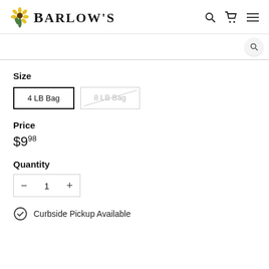Barlow's
Size
4 LB Bag | 8 LB Bag
Price
$9.98
Quantity
1
Curbside Pickup Available